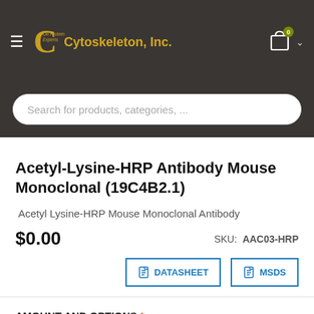Cytoskeleton, Inc.
Search for products, categories, ...
Acetyl-Lysine-HRP Antibody Mouse Monoclonal (19C4B2.1)
Acetyl Lysine-HRP Mouse Monoclonal Antibody
$0.00
SKU: AAC03-HRP
DATASHEET
MSDS
AMOUNT AND OPTIONS *
Antibody: 1 x 100 ul (Cat.# AAC03-HRP) + $427.00
Antibody: 1 x 25 ul (Cat.# AAC03-HRP-S) + $141.00